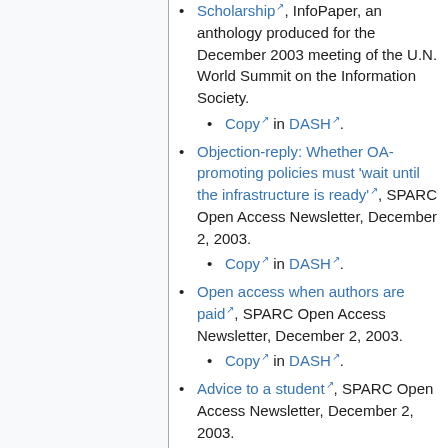Scholarship, InfoPaper, an anthology produced for the December 2003 meeting of the U.N. World Summit on the Information Society.
  • Copy in DASH.
Objection-reply: Whether OA-promoting policies must 'wait until the infrastructure is ready', SPARC Open Access Newsletter, December 2, 2003.
  • Copy in DASH.
Open access when authors are paid, SPARC Open Access Newsletter, December 2, 2003.
  • Copy in DASH.
Advice to a student, SPARC Open Access Newsletter, December 2, 2003.